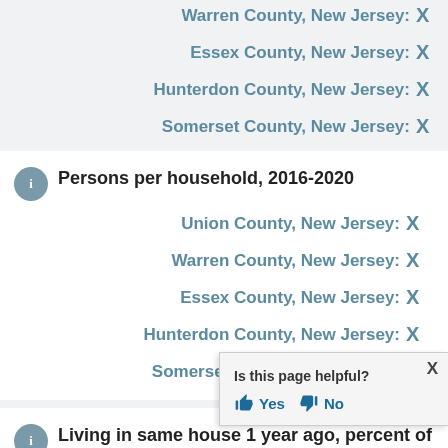Warren County, New Jersey: X
Essex County, New Jersey: X
Hunterdon County, New Jersey: X
Somerset County, New Jersey: X
Persons per household, 2016-2020
Union County, New Jersey: X
Warren County, New Jersey: X
Essex County, New Jersey: X
Hunterdon County, New Jersey: X
Somerset County, New Jersey: X
Living in same house 1 year ago, percent of persons age 1 year+, 2016-2020
Union County, New Jersey: X
Warren County, New Jersey:
Essex County, New Jersey:
Is this page helpful?
Yes
No